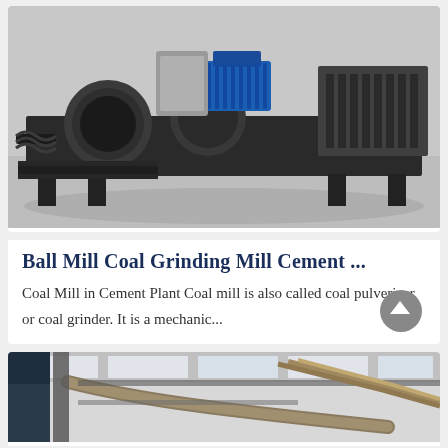[Figure (photo): Industrial ball mill / coal grinding machine in a factory setting. Large heavy dark metal equipment with cylindrical drum, screw conveyor, and blue electric motor on top, sitting on a concrete floor.]
Ball Mill Coal Grinding Mill Cement ...
Coal Mill in Cement Plant Coal mill is also called coal pulverizer or coal grinder. It is a mechanic...
[Figure (photo): Interior of an industrial facility or plant showing metal piping, ductwork, and structural elements in a large warehouse-like space with natural light coming through.]